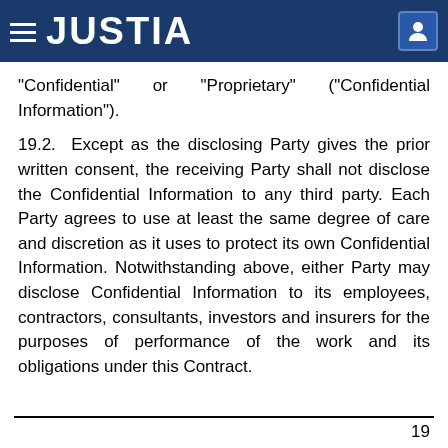JUSTIA
“Confidential” or “Proprietary” (“Confidential Information”).
19.2. Except as the disclosing Party gives the prior written consent, the receiving Party shall not disclose the Confidential Information to any third party. Each Party agrees to use at least the same degree of care and discretion as it uses to protect its own Confidential Information. Notwithstanding above, either Party may disclose Confidential Information to its employees, contractors, consultants, investors and insurers for the purposes of performance of the work and its obligations under this Contract.
19